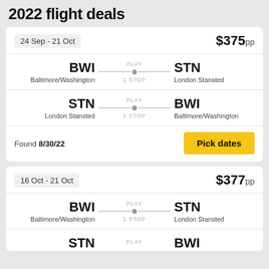2022 flight deals
24 Sep - 21 Oct
$375pp
BWI Baltimore/Washington PLAY 1 STOP STN London Stansted
STN London Stansted PLAY 1 STOP BWI Baltimore/Washington
Found 8/30/22
Pick dates
16 Oct - 21 Oct
$377pp
BWI Baltimore/Washington PLAY 1 STOP STN London Stansted
STN PLAY BWI